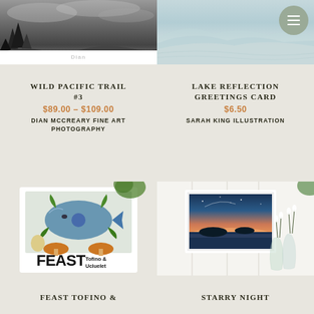[Figure (photo): Black and white photo of Wild Pacific Trail with trees and rocky landscape, text 'Dian' overlaid, white strip at bottom]
[Figure (photo): Soft blue and green misty mountain/lake reflection illustration for greeting card]
WILD PACIFIC TRAIL #3
$89.00 – $109.00
DIAN MCCREARY FINE ART PHOTOGRAPHY
LAKE REFLECTION GREETINGS CARD
$6.50
SARAH KING ILLUSTRATION
[Figure (illustration): Colorful illustrated card showing salmon fish with mushrooms, plants and FEAST Tofino & Ucluelet text]
[Figure (photo): Framed painting of starry night seascape at sunset with warm pink/orange sky, displayed on white wood plank wall with glass vases of snowdrops]
FEAST TOFINO &
STARRY NIGHT